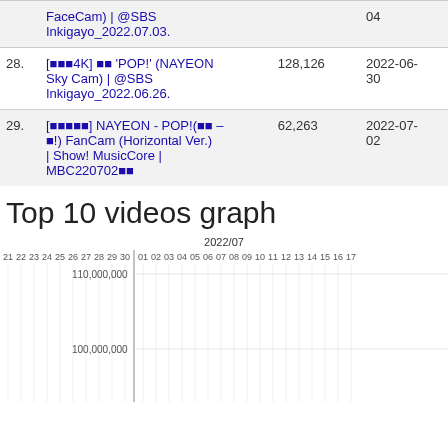| # | Title | Views | Date |
| --- | --- | --- | --- |
|  | FaceCam) | @SBS Inkigayo_2022.07.03. |  | 04 |
| 28. | [🎵🎵🎵4K] 🎵🎵 'POP!' (NAYEON Sky Cam) | @SBS Inkigayo_2022.06.26. | 128,126 | 2022-06-30 |
| 29. | [🎵🎵🎵🎵🎵] NAYEON - POP!(🎵🎵 – 🎵!) FanCam (Horizontal Ver.) | Show! MusicCore | MBC220702🎵🎵 | 62,263 | 2022-07-02 |
Top 10 videos graph
[Figure (line-chart): Line chart showing top 10 videos view counts over time. X-axis shows dates from 21 to 17 (spanning June-July 2022), with a 2022/07 label. Y-axis shows values including 110,000,000 and 100,000,000. A vertical line appears at the 01 position (July 1).]